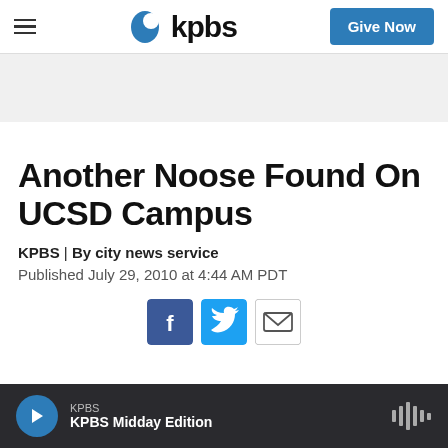kpbs | Give Now
[Figure (screenshot): Gray advertisement banner area]
Another Noose Found On UCSD Campus
KPBS | By city news service
Published July 29, 2010 at 4:44 AM PDT
[Figure (infographic): Social share buttons: Facebook, Twitter, Email]
KPBS | KPBS Midday Edition